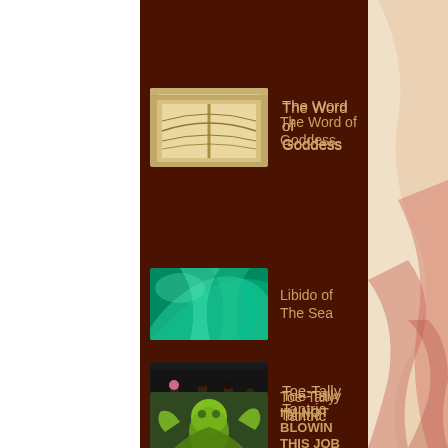The Word of Goddess
Toe-Tally Tantric
Libido of The Sea
I'M NOT BLOWIN THIS JOB